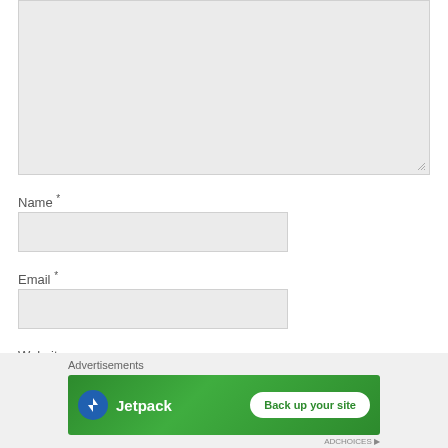[Figure (screenshot): Gray textarea input box with resize handle at bottom right]
Name *
[Figure (screenshot): Gray text input field for Name]
Email *
[Figure (screenshot): Gray text input field for Email]
Website
[Figure (screenshot): Close/dismiss button (circle with X)]
Advertisements
[Figure (screenshot): Jetpack advertisement banner with green background showing Jetpack logo and 'Back up your site' button]